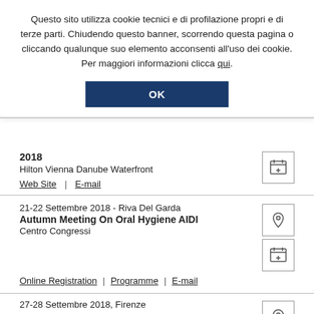Questo sito utilizza cookie tecnici e di profilazione propri e di terze parti. Chiudendo questo banner, scorrendo questa pagina o cliccando qualunque suo elemento acconsenti all'uso dei cookie. Per maggiori informazioni clicca qui.
OK
2018
Hilton Vienna Danube Waterfront
Web Site | E-mail
21-22 Settembre 2018 - Riva Del Garda
Autumn Meeting On Oral Hygiene AIDI
Centro Congressi
Online Registration | Programme | E-mail
27-28 Settembre 2018, Firenze